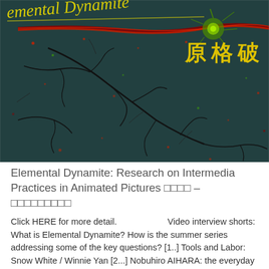[Figure (illustration): Dark teal/dark blue background artwork with black branching lines resembling cracks or tree branches, red streaks running diagonally, scattered red and green dots/splashes. Yellow handwritten text reads 'emental Dynamite' (partial, left-cropped) at top, and yellow Chinese characters '原格破' at upper right.]
Elemental Dynamite: Research on Intermedia Practices in Animated Pictures □□□□ – □□□□□□□□□
Click HERE for more detail.                    Video interview shorts: What is Elemental Dynamite? How is the summer series addressing some of the key questions? [1..] Tools and Labor: Snow White / Winnie Yan [2...] Nobuhiro AIHARA: the everyday into